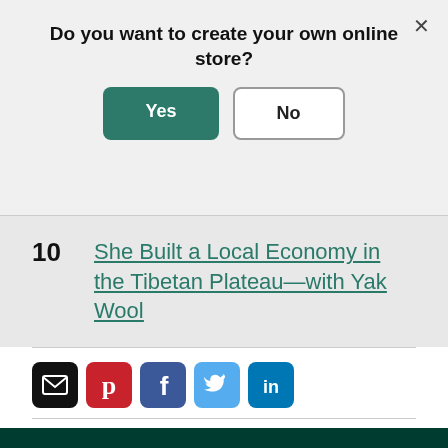Do you want to create your own online store?
Yes
No
10  She Built a Local Economy in the Tibetan Plateau—with Yak Wool
[Figure (screenshot): Social sharing icons: email (black), Pinterest (red), Facebook (blue), Twitter (light blue), LinkedIn (dark blue)]
TOPICS:  Founder Stories